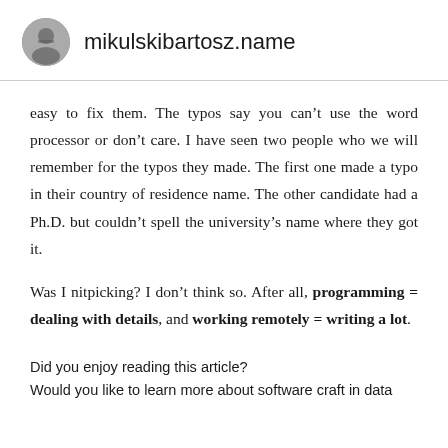mikulskibartosz.name
easy to fix them. The typos say you can’t use the word processor or don’t care. I have seen two people who we will remember for the typos they made. The first one made a typo in their country of residence name. The other candidate had a Ph.D. but couldn’t spell the university’s name where they got it.
Was I nitpicking? I don’t think so. After all, programming = dealing with details, and working remotely = writing a lot.
Did you enjoy reading this article?
Would you like to learn more about software craft in data